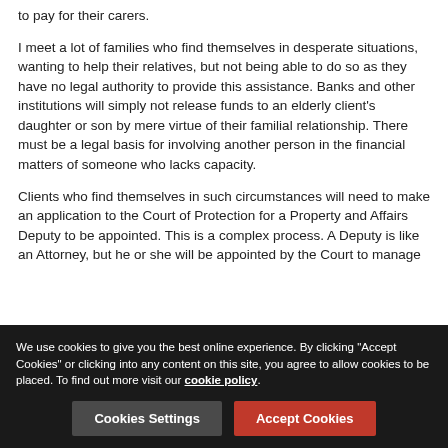to pay for their carers.
I meet a lot of families who find themselves in desperate situations, wanting to help their relatives, but not being able to do so as they have no legal authority to provide this assistance. Banks and other institutions will simply not release funds to an elderly client’s daughter or son by mere virtue of their familial relationship.  There must be a legal basis for involving another person in the financial matters of someone who lacks capacity.
Clients who find themselves in such circumstances will need to make an application to the Court of Protection for a Property and Affairs Deputy to be appointed.  This is a complex process. A Deputy is like an Attorney, but he or she will be appointed by the Court to manage someone else’s finances.  A Deputy can be lay or professional but both will
We use cookies to give you the best online experience. By clicking “Accept Cookies” or clicking into any content on this site, you agree to allow cookies to be placed. To find out more visit our cookie policy.
Cookies Settings
Accept Cookies